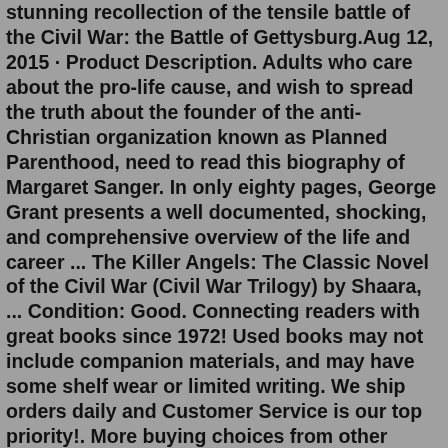stunning recollection of the tensile battle of the Civil War: the Battle of Gettysburg.Aug 12, 2015 · Product Description. Adults who care about the pro-life cause, and wish to spread the truth about the founder of the anti-Christian organization known as Planned Parenthood, need to read this biography of Margaret Sanger. In only eighty pages, George Grant presents a well documented, shocking, and comprehensive overview of the life and career ... The Killer Angels: The Classic Novel of the Civil War (Civil War Trilogy) by Shaara, ... Condition: Good. Connecting readers with great books since 1972! Used books may not include companion materials, and may have some shelf wear or limited writing. We ship orders daily and Customer Service is our top priority!. More buying choices from other ...This book was identified by General Norman Schwarzkopf as "the best and most realistic historical novel about war I have ever read.". The Killer Angels has also been required reading at institutions such as the U.S. Army Officer Candidate School, the U.S. Army Command and